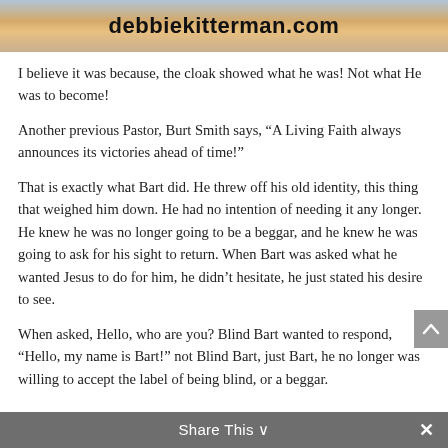debbiekitterman.com
I believe it was because, the cloak showed what he was!  Not what He was to become!
Another previous Pastor, Burt Smith says, “A Living Faith always announces its victories ahead of time!”
That is exactly what Bart did.  He threw off his old identity, this thing that weighed him down.  He had no intention of needing it any longer.  He knew he was no longer going to be a beggar, and he knew he was going to ask for his sight to return. When Bart was asked what he wanted Jesus to do for him, he didn’t hesitate, he just stated his desire to see.
When asked, Hello, who are you?  Blind Bart wanted to respond, “Hello, my name is Bart!”  not Blind Bart, just Bart, he no longer was willing to accept the label of being blind, or a beggar.
Share This ∨